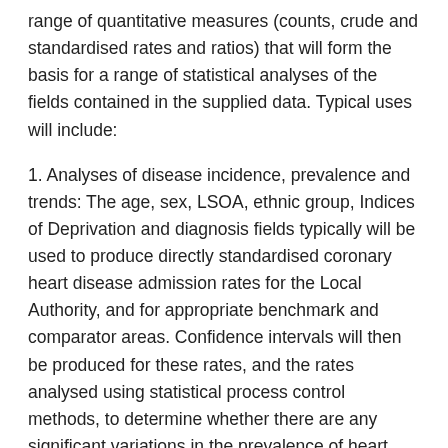range of quantitative measures (counts, crude and standardised rates and ratios) that will form the basis for a range of statistical analyses of the fields contained in the supplied data. Typical uses will include:
1. Analyses of disease incidence, prevalence and trends: The age, sex, LSOA, ethnic group, Indices of Deprivation and diagnosis fields typically will be used to produce directly standardised coronary heart disease admission rates for the Local Authority, and for appropriate benchmark and comparator areas. Confidence intervals will then be produced for these rates, and the rates analysed using statistical process control methods, to determine whether there are any significant variations in the prevalence of heart disease with the Local Authority. The data will also be used to